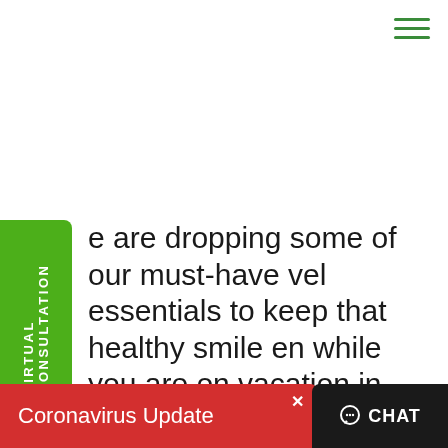[Figure (other): Hamburger menu icon with three green horizontal lines in top right corner]
[Figure (other): Vertical green tab on left side reading VIRTUAL CONSULTATION with a plus sign]
e are dropping some of our must-have vel essentials to keep that healthy smile en while you are on vacation in THIS DEO! Don't forget to pack your toothpaste, toothbrush, floss, tongue r daily tool races. Chances are,
[Figure (other): Red Coronavirus Update notification bar at bottom left with close X button]
[Figure (other): Black CHAT button with chat icon at bottom right]